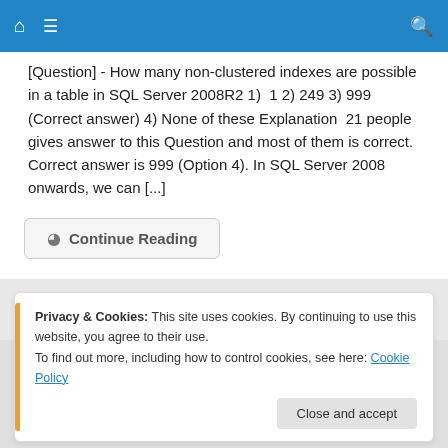Navigation bar with home, menu, and search icons
[Question] - How many non-clustered indexes are possible in a table in SQL Server 2008R2 1)  1 2) 249 3) 999  (Correct answer) 4) None of these Explanation  21 people gives answer to this Question and most of them is correct. Correct answer is 999 (Option 4). In SQL Server 2008 onwards, we can [...]
Continue Reading
Privacy & Cookies: This site uses cookies. By continuing to use this website, you agree to their use.
To find out more, including how to control cookies, see here: Cookie Policy
Close and accept